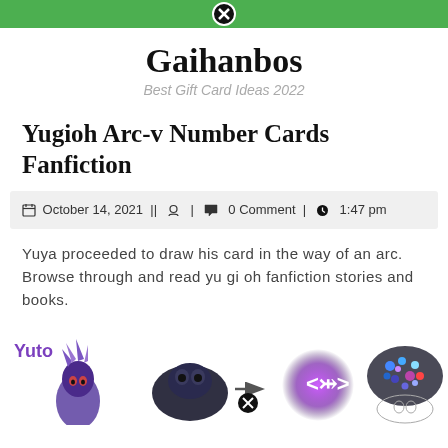Gaihanbos — navigation bar with close button
Gaihanbos
Best Gift Card Ideas 2022
Yugioh Arc-v Number Cards Fanfiction
October 14, 2021 || [person icon] | [comment icon] 0 Comment | [clock icon] 1:47 pm
Yuya proceeded to draw his card in the way of an arc. Browse through and read yu gi oh fanfiction stories and books.
[Figure (illustration): Illustration showing 'Yuto' label in purple with anime character figures and game card imagery]